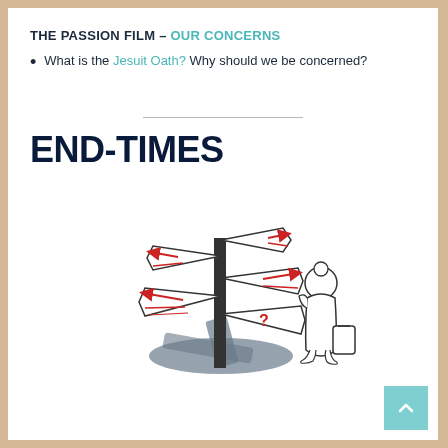THE PASSION FILM – OUR CONCERNS
What is the Jesuit Oath?  Why should we be concerned?
END-TIMES
[Figure (illustration): A confused person standing at a signpost with multiple directional signs pointing in different directions with red arrows, and a question mark sign. The person has a bag and appears to be looking at the signs.]